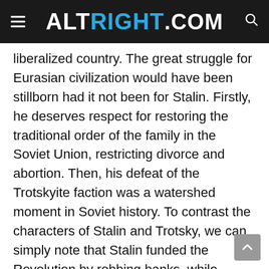ALTRIGHT.COM
liberalized country. The great struggle for Eurasian civilization would have been stillborn had it not been for Stalin. Firstly, he deserves respect for restoring the traditional order of the family in the Soviet Union, restricting divorce and abortion. Then, his defeat of the Trotskyite faction was a watershed moment in Soviet history. To contrast the characters of Stalin and Trotsky, we can simply note that Stalin funded the Revolution by robbing banks, while Trotsky funded it through a trip to New York City to meet with wealthy bankers and businessmen. The choice for